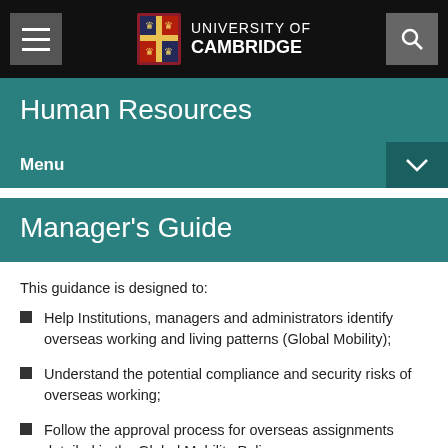University of Cambridge – Human Resources
Human Resources
Menu
Manager's Guide
This guidance is designed to:
Help Institutions, managers and administrators identify overseas working and living patterns (Global Mobility);
Understand the potential compliance and security risks of overseas working;
Follow the approval process for overseas assignments detailed in the Global Mobility Policy.